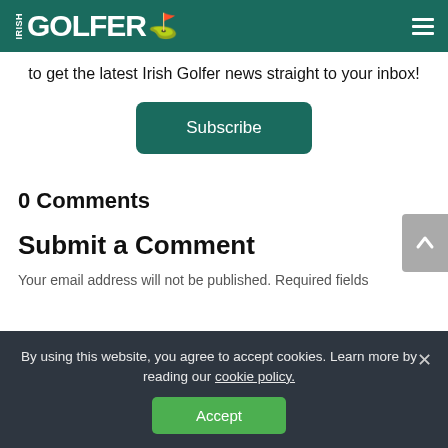IRISH GOLFER
to get the latest Irish Golfer news straight to your inbox!
Subscribe
0 Comments
Submit a Comment
Your email address will not be published. Required fields
By using this website, you agree to accept cookies. Learn more by reading our cookie policy.
Accept